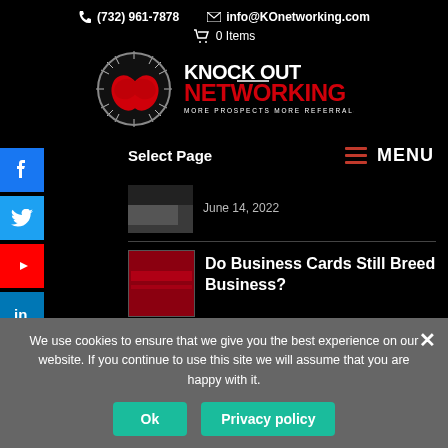(732) 961-7878   info@KOnetworking.com   🛒 0 Items
[Figure (logo): Knock Out Networking logo with boxing gloves icon — MORE PROSPECTS MORE REFERRALS MORE BUSINESS]
Select Page
MENU
June 14, 2022
Do Business Cards Still Breed Business?
We use cookies to ensure that we give you the best experience on our website. If you continue to use this site we will assume that you are happy with it.
Ok
Privacy policy